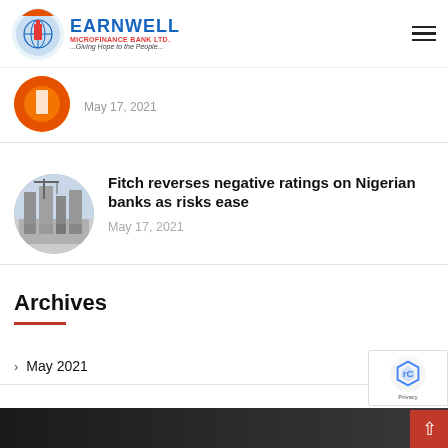[Figure (logo): Earnwell Microfinance Bank Ltd logo with tagline '...Giving Hope to the People...']
May 17, 2021
Fitch reverses negative ratings on Nigerian banks as risks ease
May 17, 2021
Archives
May 2021  3